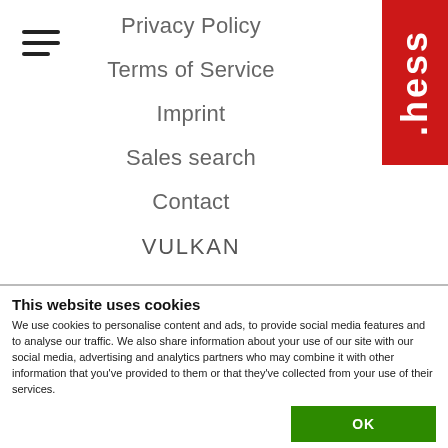[Figure (logo): Hamburger menu icon (three horizontal lines)]
Privacy Policy
Terms of Service
Imprint
Sales search
Contact
VULKAN
[Figure (logo): Red vertical badge with white text '.hess']
This website uses cookies
We use cookies to personalise content and ads, to provide social media features and to analyse our traffic. We also share information about your use of our site with our social media, advertising and analytics partners who may combine it with other information that you've provided to them or that they've collected from your use of their services.
OK
Necessary   Preferences   Statistics   Marketing   Show details